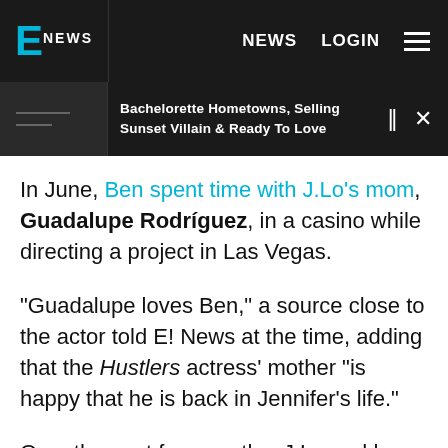E! NEWS | NEWS | LOGIN
[Figure (screenshot): E! News media player bar showing thumbnail lines and text: Bachelorette Hometowns, Selling Sunset Villain & Ready To Love, with pause and close controls]
In June, Ben spent time with J.Lo's mom, Guadalupe Rodríguez, in a casino while directing a project in Las Vegas.
"Guadalupe loves Ben," a source close to the actor told E! News at the time, adding that the Hustlers actress' mother "is happy that he is back in Jennifer's life."
Over the past few months, J.Lo and her twins have been spotted on outings with Ben and sometimes,